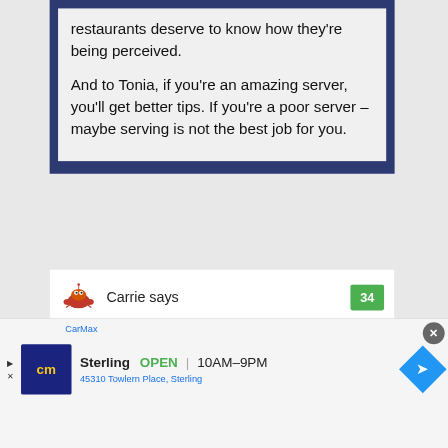restaurants deserve to know how they're being perceived.

And to Tonia, if you're an amazing server, you'll get better tips. If you're a poor server – maybe serving is not the best job for you.
Carrie says
[Figure (other): Green badge with number 34]
[Figure (other): CarMax advertisement banner with logo, Sterling location, OPEN 10AM-9PM]